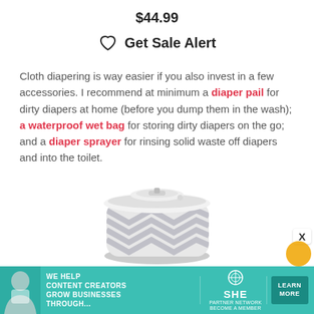$44.99
Get Sale Alert
Cloth diapering is way easier if you also invest in a few accessories. I recommend at minimum a diaper pail for dirty diapers at home (before you dump them in the wash); a waterproof wet bag for storing dirty diapers on the go; and a diaper sprayer for rinsing solid waste off diapers and into the toilet.
[Figure (photo): A diaper pail product with grey chevron pattern and white lid, shown from above at an angle.]
[Figure (infographic): Advertisement banner: SHE Media Partner Network ad. Text reads: WE HELP CONTENT CREATORS GROW BUSINESSES THROUGH... with SHE logo and LEARN MORE button.]